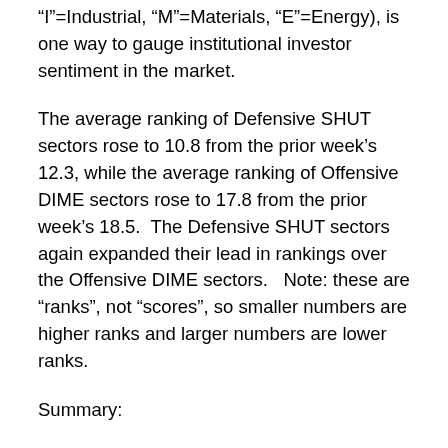"I"=Industrial, "M"=Materials, "E"=Energy), is one way to gauge institutional investor sentiment in the market.
The average ranking of Defensive SHUT sectors rose to 10.8 from the prior week's 12.3, while the average ranking of Offensive DIME sectors rose to 17.8 from the prior week's 18.5.  The Defensive SHUT sectors again expanded their lead in rankings over the Offensive DIME sectors.   Note: these are "ranks", not "scores", so smaller numbers are higher ranks and larger numbers are lower ranks.
Summary:
The US has led the worldwide recovery, and continues to be among the strongest of global